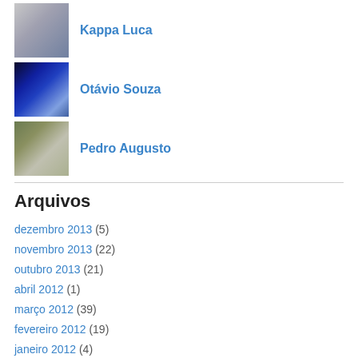Kappa Luca
Otávio Souza
Pedro Augusto
Arquivos
dezembro 2013 (5)
novembro 2013 (22)
outubro 2013 (21)
abril 2012 (1)
março 2012 (39)
fevereiro 2012 (19)
janeiro 2012 (4)
junho 2010 (11)
maio 2010 (44)
abril 2010 (58)
março 2010 (110)